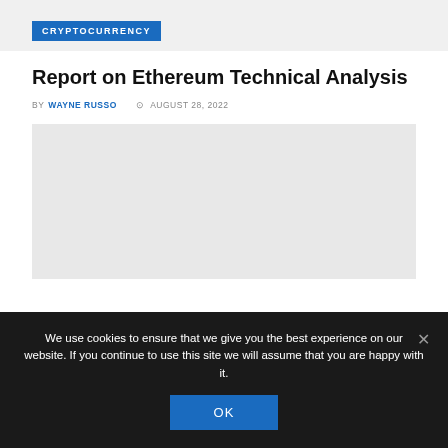CRYPTOCURRENCY
Report on Ethereum Technical Analysis
BY WAYNE RUSSO  © AUGUST 28, 2022
[Figure (other): Gray placeholder image area for article content]
We use cookies to ensure that we give you the best experience on our website. If you continue to use this site we will assume that you are happy with it.